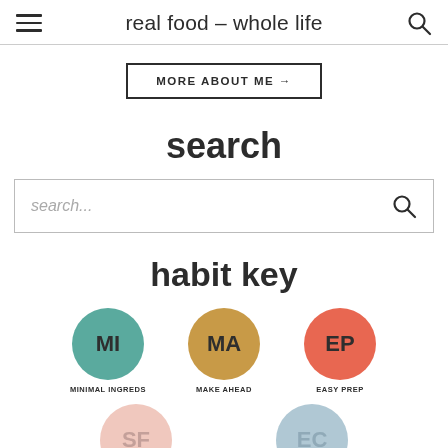real food – whole life
MORE ABOUT ME →
search
search...
habit key
MI – MINIMAL INGREDS
MA – MAKE AHEAD
EP – EASY PREP
SF
EC